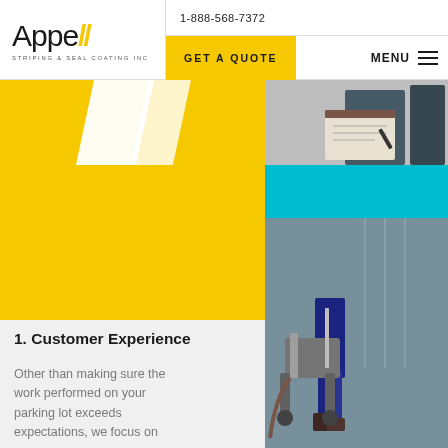Appell // STRIPING & SEAL COATING INC | 1-888-568-7372 | GET A QUOTE | MENU
[Figure (infographic): Hero section with yellow left panel showing parking lot stripe markings, teal/cyan right block, photo of person writing in top-right corner, and photo of worker with striping equipment in bottom-right corner]
1. Customer Experience
Other than making sure the work performed on your parking lot exceeds expectations, we focus on